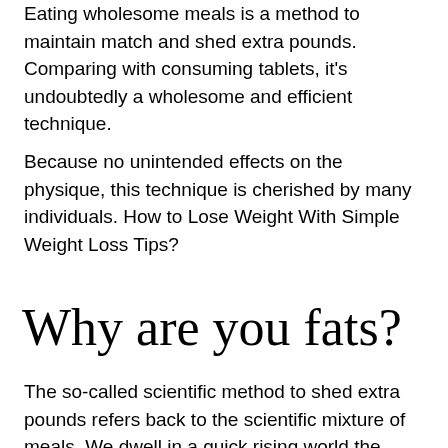Eating wholesome meals is a method to maintain match and shed extra pounds. Comparing with consuming tablets, it's undoubtedly a wholesome and efficient technique.
Because no unintended effects on the physique, this technique is cherished by many individuals. How to Lose Weight With Simple Weight Loss Tips?
Why are you fats?
The so-called scientific method to shed extra pounds refers back to the scientific mixture of meals. We dwell in a quick rising world the place consuming has turn out to be senseless.